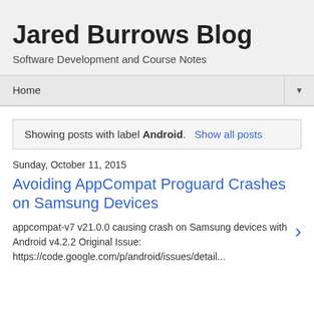Jared Burrows Blog
Software Development and Course Notes
Home
Showing posts with label Android. Show all posts
Sunday, October 11, 2015
Avoiding AppCompat Proguard Crashes on Samsung Devices
appcompat-v7 v21.0.0 causing crash on Samsung devices with Android v4.2.2 Original Issue: https://code.google.com/p/android/issues/detail...